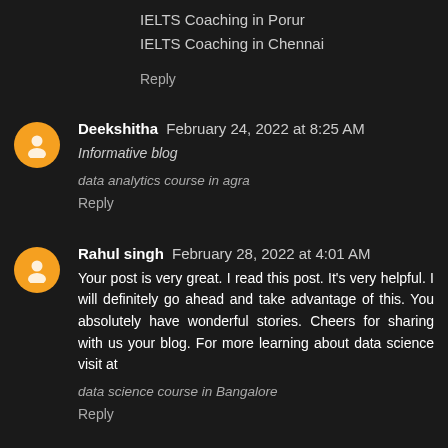IELTS Coaching in Porur
IELTS Coaching in Chennai
Reply
Deekshitha February 24, 2022 at 8:25 AM
Informative blog
data analytics course in agra
Reply
Rahul singh February 28, 2022 at 4:01 AM
Your post is very great. I read this post. It's very helpful. I will definitely go ahead and take advantage of this. You absolutely have wonderful stories. Cheers for sharing with us your blog. For more learning about data science visit at
data science course in Bangalore
Reply